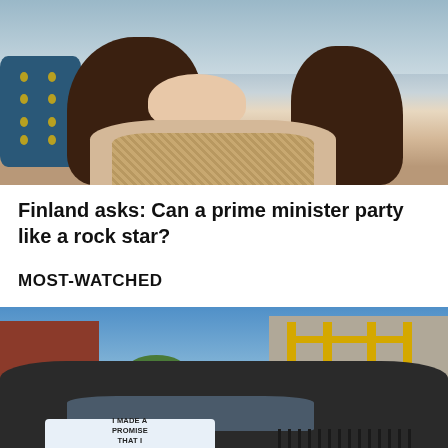[Figure (photo): Photo of a smiling woman with long dark hair wearing a beige/tan knit sweater, seated at a table with blue patterned fabric visible on the left side]
Finland asks: Can a prime minister party like a rock star?
MOST-WATCHED
[Figure (photo): Photo of a dark-colored car parked on a street. A sign in the rear window reads 'I MADE A PROMISE THAT I WOULDN'T LEAVE'. Background shows a red brick building on the left and a building with yellow scaffolding on the right.]